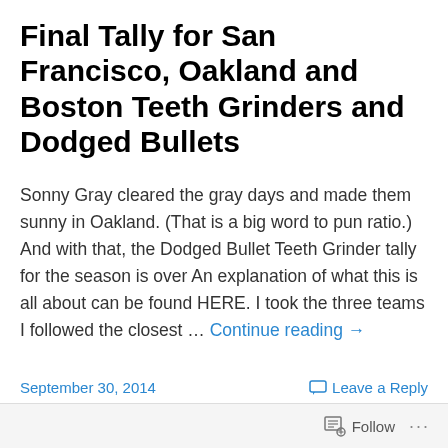Final Tally for San Francisco, Oakland and Boston Teeth Grinders and Dodged Bullets
Sonny Gray cleared the gray days and made them sunny in Oakland. (That is a big word to pun ratio.) And with that, the Dodged Bullet Teeth Grinder tally for the season is over An explanation of what this is all about can be found HERE. I took the three teams I followed the closest … Continue reading →
September 30, 2014
Leave a Reply
Follow